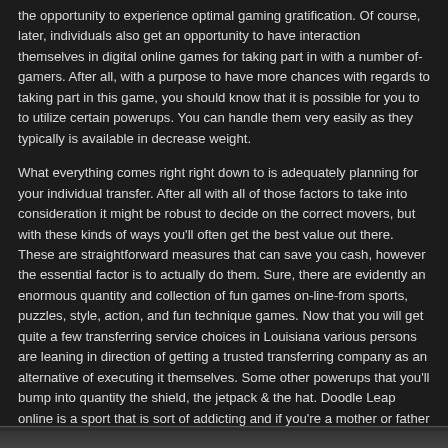the opportunity to experience optimal gaming gratification. Of course, later, individuals also get an opportunity to have interaction themselves in digital online games for taking part in with a number of-gamers. After all, with a purpose to have more chances with regards to taking part in this game, you should know that it is possible for you to to utilize certain powerups. You can handle them very easily as they typically is available in decrease weight.
What everything comes right right down to is adequately planning for your individual transfer. After all with all of those factors to take into consideration it might be robust to decide on the correct movers, but with these kinds of ways you'll often get the best value out there. These are straightforward measures that can save you cash, however the essential factor is to actually do them. Sure, there are evidently an enormous quantity and collection of fun games on-line-from sports, puzzles, style, action, and fun technique games. Now that you will get quite a few transferring service choices in Louisiana various persons are leaning in direction of getting a trusted transferring company as an alternative of executing it themselves. Some other powerups that you'll bump into quantity the shield, the jetpack & the hat. Doodle Leap online is a sport that is sort of addicting and if you're a mother or father and you have kids that may play such video games, then you will definitely want to guantee that you will keep them as far as you can from it. Others are extra friendly to long distance moves.
[Figure (screenshot): Bottom strip of an image or screenshot visible at the very bottom of the page]